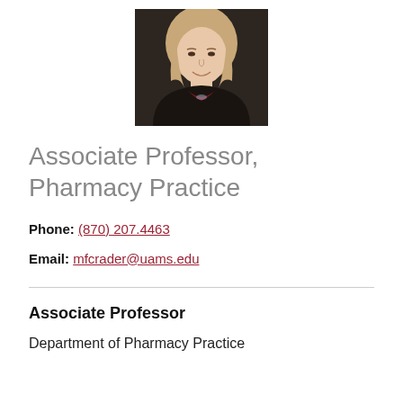[Figure (photo): Headshot photo of a woman with blonde hair, wearing a dark blazer and dark red top, smiling.]
Associate Professor, Pharmacy Practice
Phone: (870) 207.4463
Email: mfcrader@uams.edu
Associate Professor
Department of Pharmacy Practice